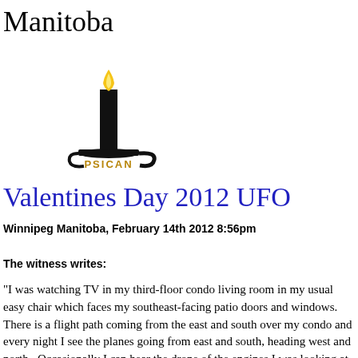Manitoba
[Figure (logo): PSICAN logo: black candle with flame on a candleholder with the text PSICAN in gold below]
Valentines Day 2012 UFO
Winnipeg Manitoba, February 14th 2012 8:56pm
The witness writes:
"I was watching TV in my third-floor condo living room in my usual easy chair which faces my southeast-facing patio doors and windows.  There is a flight path coming from the east and south over my condo and every night I see the planes going from east and south, heading west and north.  Occasionally I can hear the drone of the engines.I was looking at the TV when I suddenly saw a